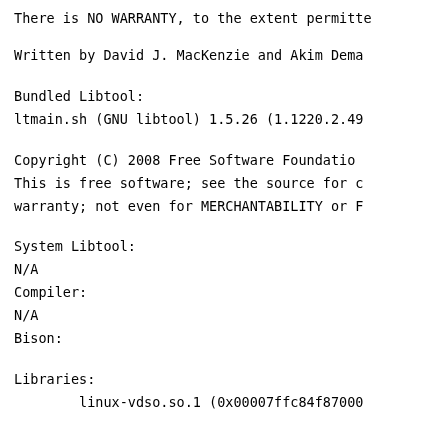There is NO WARRANTY, to the extent permitt
Written by David J. MacKenzie and Akim Dema
Bundled Libtool:
ltmain.sh (GNU libtool) 1.5.26 (1.1220.2.49
Copyright (C) 2008  Free Software Foundatio
This is free software; see the source for c
warranty; not even for MERCHANTABILITY or F
System Libtool:
N/A
Compiler:
N/A
Bison:
Libraries:
        linux-vdso.so.1 (0x00007ffc84f87000